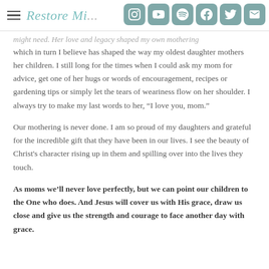Restore Mi...
might need. Her love and legacy shaped my own mothering which in turn I believe has shaped the way my oldest daughter mothers her children. I still long for the times when I could ask my mom for advice, get one of her hugs or words of encouragement, recipes or gardening tips or simply let the tears of weariness flow on her shoulder. I always try to make my last words to her, “I love you, mom.”
Our mothering is never done. I am so proud of my daughters and grateful for the incredible gift that they have been in our lives. I see the beauty of Christ's character rising up in them and spilling over into the lives they touch.
As moms we’ll never love perfectly, but we can point our children to the One who does. And Jesus will cover us with His grace, draw us close and give us the strength and courage to face another day with grace.